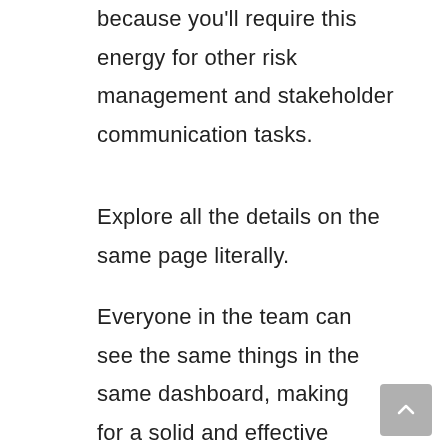because you'll require this energy for other risk management and stakeholder communication tasks.
Explore all the details on the same page literally.
Everyone in the team can see the same things in the same dashboard, making for a solid and effective communication base. So, for example, instead of having to inform everyone in your group what they have to accomplish and the times they'll need it